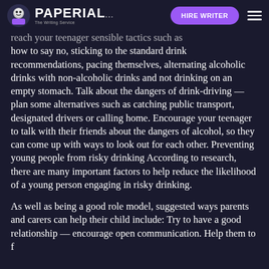PAPERIAL... HIRE WRITER
reach your teenager sensible tactics such as how to say no, sticking to the standard drink recommendations, pacing themselves, alternating alcoholic drinks with non-alcoholic drinks and not drinking on an empty stomach. Talk about the dangers of drink-driving — plan some alternatives such as catching public transport, designated drivers or calling home. Encourage your teenager to talk with their friends about the dangers of alcohol, so they can come up with ways to look out for each other. Preventing young people from risky drinking According to research, there are many important factors to help reduce the likelihood of a young person engaging in risky drinking.
As well as being a good role model, suggested ways parents and carers can help their child include: Try to have a good relationship — encourage open communication. Help them to f...